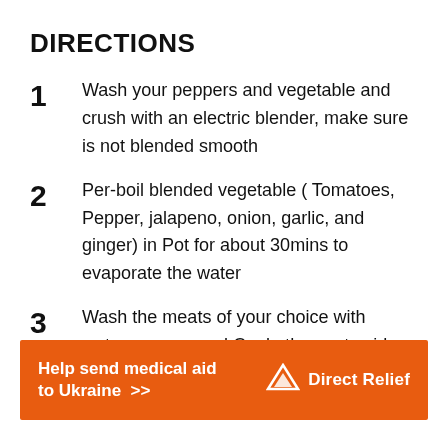DIRECTIONS
Wash your peppers and vegetable and crush with an electric blender, make sure is not blended smooth
Per-boil blended vegetable ( Tomatoes, Pepper, jalapeno, onion, garlic, and ginger) in Pot for about 30mins to evaporate the water
Wash the meats of your choice with water, season and Cook, then set aside. also boil the eggs, peel, and Set aside
[Figure (infographic): Orange advertisement banner reading 'Help send medical aid to Ukraine >>' with Direct Relief logo on the right]